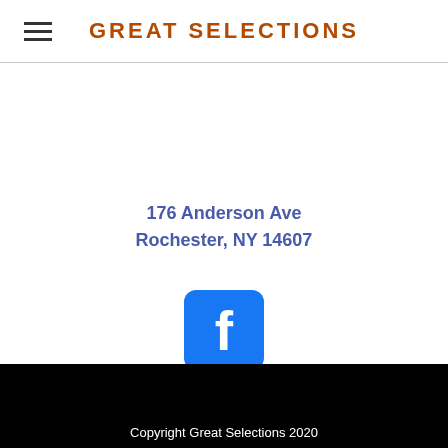GREAT SELECTIONS
176 Anderson Ave
Rochester, NY 14607
[Figure (logo): Facebook logo icon — blue rounded square with white lowercase f]
Copyright Great Selections 2020